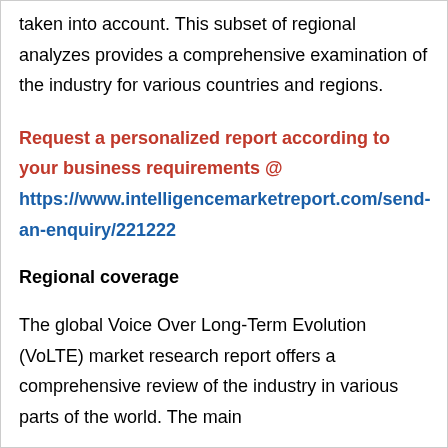taken into account. This subset of regional analyzes provides a comprehensive examination of the industry for various countries and regions.
Request a personalized report according to your business requirements @ https://www.intelligencemarketreport.com/send-an-enquiry/221222
Regional coverage
The global Voice Over Long-Term Evolution (VoLTE) market research report offers a comprehensive review of the industry in various parts of the world. The main